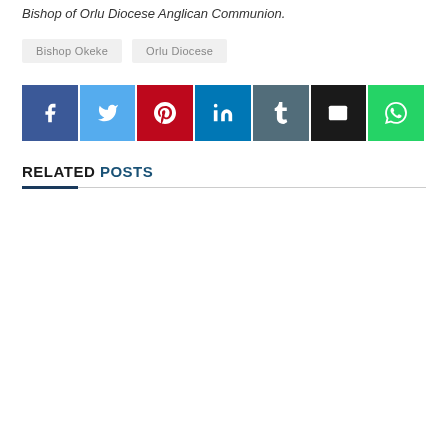Bishop of Orlu Diocese Anglican Communion.
Bishop Okeke
Orlu Diocese
[Figure (infographic): Social media share buttons: Facebook (blue), Twitter (light blue), Pinterest (red), LinkedIn (blue), Tumblr (slate), Email (black), WhatsApp (green)]
RELATED POSTS